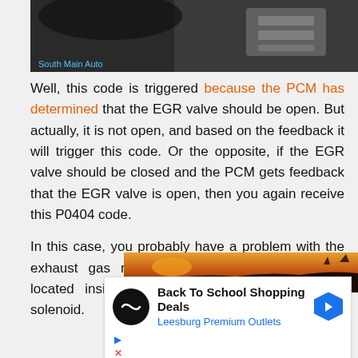[Figure (photo): Partial view of a vehicle engine bay with a person's arm visible, labeled 'South Main Auto']
Well, this code is triggered because the PCM has determined that the EGR valve should be open. But actually, it is not open, and based on the feedback it will trigger this code. Or the opposite, if the EGR valve should be closed and the PCM gets feedback that the EGR valve is open, then you again receive this P0404 code.
In this case, you probably have a problem with the exhaust gas recirculation control circuit that is located inside of the EGR position sensor or solenoid.
[Figure (screenshot): Advertisement: Back To School Shopping Deals - Leesburg Premium Outlets]